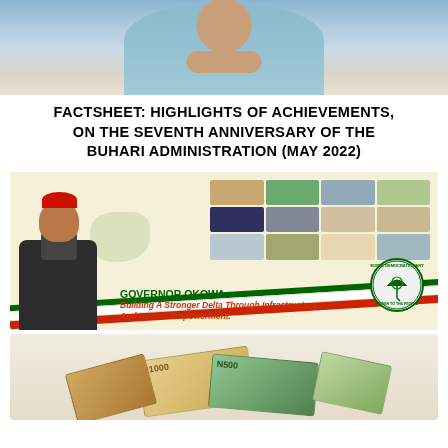[Figure (photo): Top portion of a person in blue attire seated with hands clasped on a desk]
FACTSHEET: HIGHLIGHTS OF ACHIEVEMENTS, ON THE SEVENTH ANNIVERSARY OF THE BUHARI ADMINISTRATION (MAY 2022)
[Figure (photo): Banner for Governor Okowa featuring his portrait, infrastructure photos, Nigerian flag ribbon in green, white and red, PDP party logo, with text: GOVERNOR OKOWA: Building A Stronger Delta Through Infrastructure And Human Empowerment.]
[Figure (photo): Nigerian naira currency notes (N500 and N1000 denominations) fanned out on a surface]